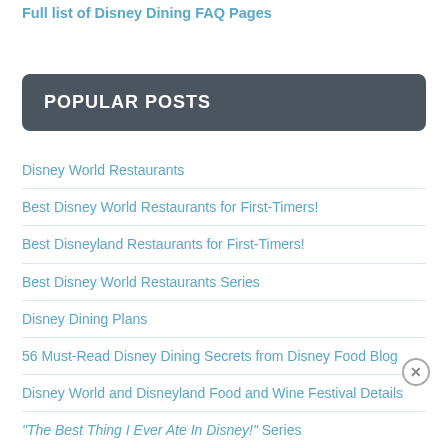Full list of Disney Dining FAQ Pages
POPULAR POSTS
Disney World Restaurants
Best Disney World Restaurants for First-Timers!
Best Disneyland Restaurants for First-Timers!
Best Disney World Restaurants Series
Disney Dining Plans
56 Must-Read Disney Dining Secrets from Disney Food Blog
Disney World and Disneyland Food and Wine Festival Details
"The Best Thing I Ever Ate In Disney!" Series